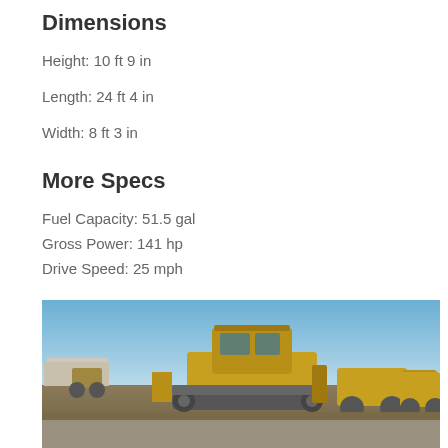Dimensions
Height: 10 ft 9 in
Length: 24 ft 4 in
Width: 8 ft 3 in
More Specs
Fuel Capacity: 51.5 gal
Gross Power: 141 hp
Drive Speed: 25 mph
[Figure (photo): Yellow bulldozer/crawler dozer parked in an equipment yard with other yellow heavy construction equipment, blue sky background, outdoor daylight.]